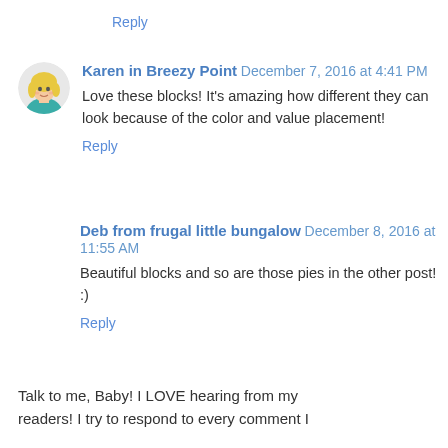Reply
Karen in Breezy Point December 7, 2016 at 4:41 PM
Love these blocks! It's amazing how different they can look because of the color and value placement!
Reply
Deb from frugal little bungalow December 8, 2016 at 11:55 AM
Beautiful blocks and so are those pies in the other post! :)
Reply
Talk to me, Baby! I LOVE hearing from my readers! I try to respond to every comment I